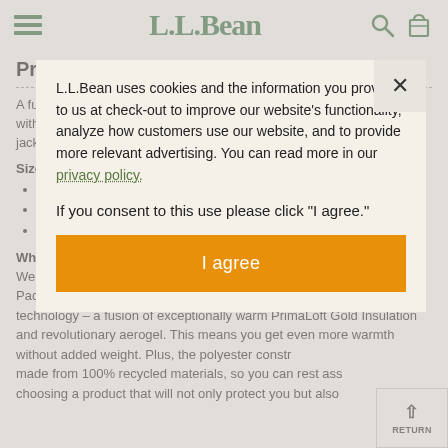L.L.Bean
Product Details
A fusion of...with PrimaLoft...jacket eve...
Size & Fi...
Slightl...
Best w...
Falls b...
Why We...
We took t... Packaway Jacket and updated it with PrimaLoft's Cross Core technology – a fusion of exceptionally warm PrimaLoft Gold Insulation and revolutionary aerogel. This means you get even more warmth without added weight. Plus, the polyester constr... made from 100% recycled materials, so you can rest ass... choosing a product that will not only protect you but also
L.L.Bean uses cookies and the information you provide to us at check-out to improve our website's functionality, analyze how customers use our website, and to provide more relevant advertising. You can read more in our privacy policy. If you consent to this use please click "I agree."